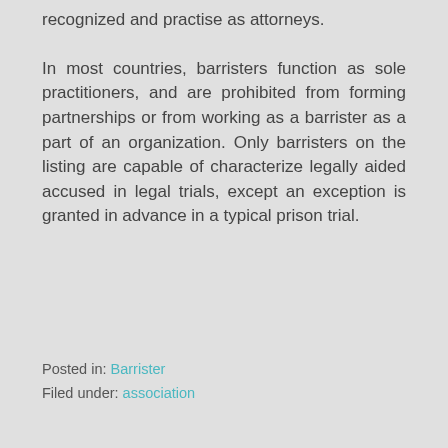recognized and practise as attorneys.
In most countries, barristers function as sole practitioners, and are prohibited from forming partnerships or from working as a barrister as a part of an organization. Only barristers on the listing are capable of characterize legally aided accused in legal trials, except an exception is granted in advance in a typical prison trial.
Posted in: Barrister
Filed under: association